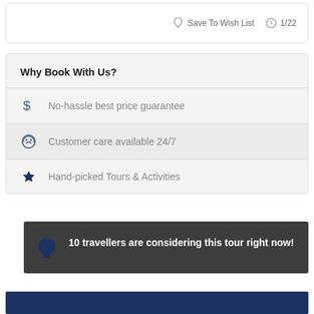Save To Wish List   1/22
Why Book With Us?
No-hassle best price guarantee
Customer care available 24/7
Hand-picked Tours & Activities
10 travellers are considering this tour right now!